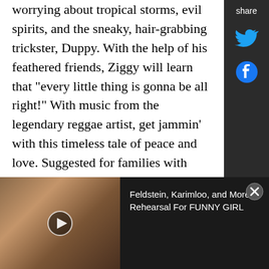worrying about tropical storms, evil spirits, and the sneaky, hair-grabbing trickster, Duppy. With the help of his feathered friends, Ziggy will learn that "every little thing is gonna be all right!" With music from the legendary reggae artist, get jammin' with this timeless tale of peace and love. Suggested for families with young people ages 3+.
From Jeff: "Inspired by the music of Bob Marley and a story by his daughter Cedella, this show is an upbeat reggae musical celebration filled with colorful characters that will make you want to move and to cheer for our hero Ziggy. Come feel the warmth of the rich Jamaican culture and the sun amidst the
[Figure (screenshot): Share sidebar with Twitter and Facebook icons on dark background]
[Figure (photo): Video player thumbnail showing a woman singing, with video title 'Feldstein, Karimloo, and More in Rehearsal For FUNNY GIRL' on dark background]